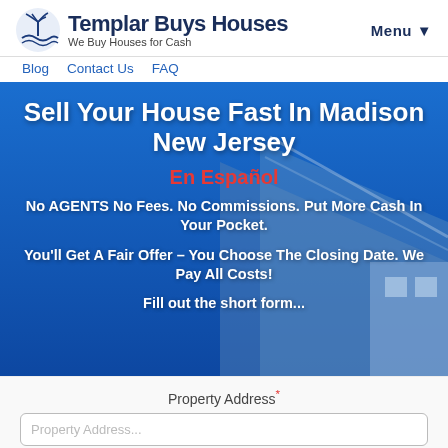Templar Buys Houses – We Buy Houses for Cash
Blog  Contact Us  FAQ  Menu ▼
Sell Your House Fast In Madison New Jersey
En Español
No AGENTS No Fees. No Commissions. Put More Cash In Your Pocket.
You'll Get A Fair Offer – You Choose The Closing Date. We Pay All Costs!
Fill out the short form...
Property Address*